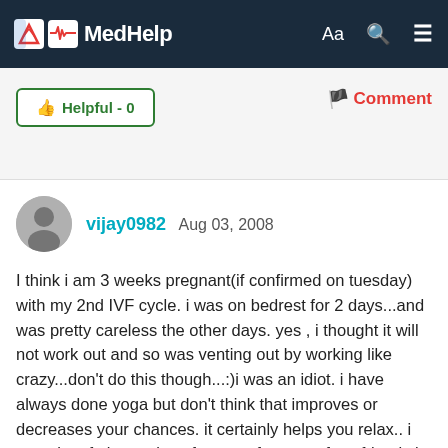MedHelp
Helpful - 0
Comment
vijay0982 Aug 03, 2008
I think i am 3 weeks pregnant(if confirmed on tuesday) with my 2nd IVF cycle. i was on bedrest for 2 days...and was pretty careless the other days. yes , i thought it will not work out and so was venting out by working like crazy...don't do this though...:)i was an idiot. i have always done yoga but don't think that improves or decreases your chances. it certainly helps you relax.. i ate a lot of pineapples after transfer. one of my friends in the group suggested to me saying it makes the embryos stick. and i think this really